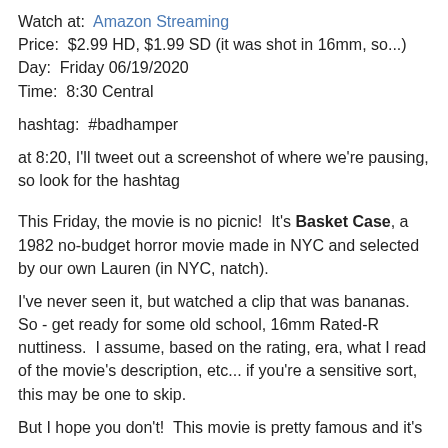Watch at:  Amazon Streaming
Price:  $2.99 HD, $1.99 SD (it was shot in 16mm, so...)
Day:  Friday 06/19/2020
Time:  8:30 Central
hashtag:  #badhamper
at 8:20, I'll tweet out a screenshot of where we're pausing, so look for the hashtag
This Friday, the movie is no picnic!  It's Basket Case, a 1982 no-budget horror movie made in NYC and selected by our own Lauren (in NYC, natch).
I've never seen it, but watched a clip that was bananas.  So - get ready for some old school, 16mm Rated-R nuttiness.  I assume, based on the rating, era, what I read of the movie's description, etc... if you're a sensitive sort, this may be one to skip.
But I hope you don't!  This movie is pretty famous and it's